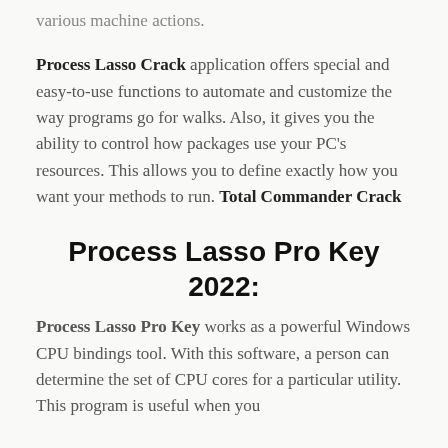various machine actions.
Process Lasso Crack application offers special and easy-to-use functions to automate and customize the way programs go for walks. Also, it gives you the ability to control how packages use your PC's resources. This allows you to define exactly how you want your methods to run. Total Commander Crack
Process Lasso Pro Key 2022:
Process Lasso Pro Key works as a powerful Windows CPU bindings tool. With this software, a person can determine the set of CPU cores for a particular utility. This program is useful when you